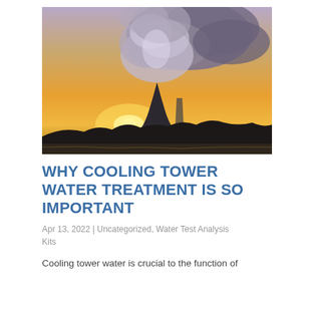[Figure (photo): Aerial/ground-level photograph of a nuclear or industrial cooling tower at sunset/sunrise, with large plumes of steam/smoke rising into a dramatic cloudy sky. The tower is silhouetted against an orange and golden sky, with dark treeline and water in the foreground.]
WHY COOLING TOWER WATER TREATMENT IS SO IMPORTANT
Apr 13, 2022 | Uncategorized, Water Test Analysis Kits
Cooling tower water is crucial to the function of